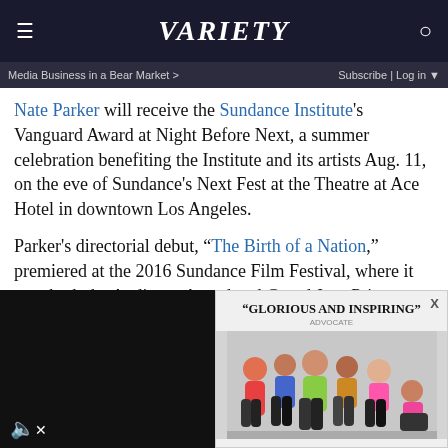VARIETY
Media Business in a Bear Market > | Subscribe | Log in
Nate Parker will receive the Sundance Institute's Vanguard Award at Night Before Next, a summer celebration benefiting the Institute and its artists Aug. 11, on the eve of Sundance's Next Fest at the Theatre at Ace Hotel in downtown Los Angeles.
Parker's directorial debut, “The Birth of a Nation,” premiered at the 2016 Sundance Film Festival, where it won both the Audience Award and Grand Jury Prize. The Sundance Institute Feature Film Program supported th feature from development to post-production, through bot
[Figure (screenshot): Advertisement overlay showing a group of people with text 'GLORIOUS AND INSPIRING' - ADVOCATE]
[Figure (screenshot): Video player overlay with black background and muted speaker icon in bottom left]